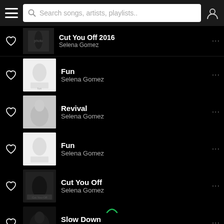Search songs, artists, playlists..
Cut You Off - Selena Gomez (partially visible at top)
Fun - Selena Gomez
Revival - Selena Gomez
Fun - Selena Gomez
Cut You Off - Selena Gomez
Slow Down - Selena Gomez
[Figure (infographic): Loading spinner (green arc) at bottom of screen]